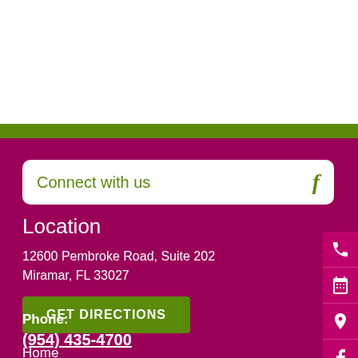Connect with us
Location
12600 Pembroke Road, Suite 202
Miramar, FL 33027
GET DIRECTIONS
Phone:
(954) 435-4700
Home
About Us